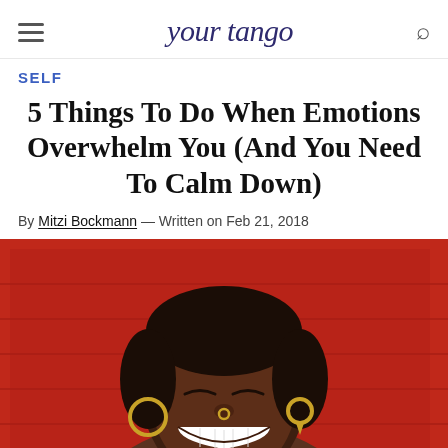YourTango
SELF
5 Things To Do When Emotions Overwhelm You (And You Need To Calm Down)
By Mitzi Bockmann — Written on Feb 21, 2018
[Figure (photo): Close-up portrait of a smiling Black woman with short hair, gold hoop earrings and nose ring, against a vivid red background. She is laughing with eyes closed.]